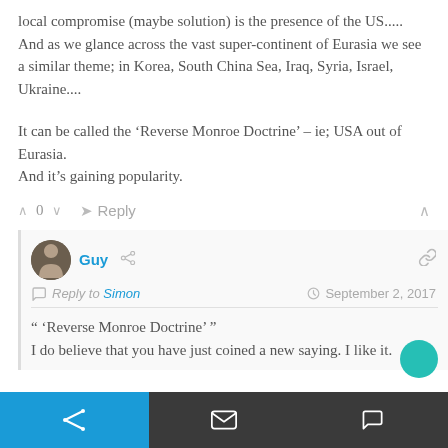local compromise (maybe solution) is the presence of the US.....
And as we glance across the vast super-continent of Eurasia we see a similar theme; in Korea, South China Sea, Iraq, Syria, Israel, Ukraine....
It can be called the ‘Reverse Monroe Doctrine’ – ie; USA out of Eurasia.
And it’s gaining popularity.
Reply to Simon    September 2, 2017
“ ‘Reverse Monroe Doctrine’ ”
I do believe that you have just coined a new saying. I like it.